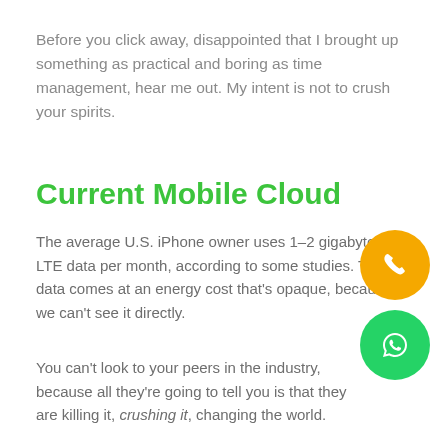Before you click away, disappointed that I brought up something as practical and boring as time management, hear me out. My intent is not to crush your spirits.
Current Mobile Cloud
The average U.S. iPhone owner uses 1–2 gigabytes of LTE data per month, according to some studies. That data comes at an energy cost that's opaque, because we can't see it directly.
You can't look to your peers in the industry, because all they're going to tell you is that they are killing it, crushing it, changing the world.